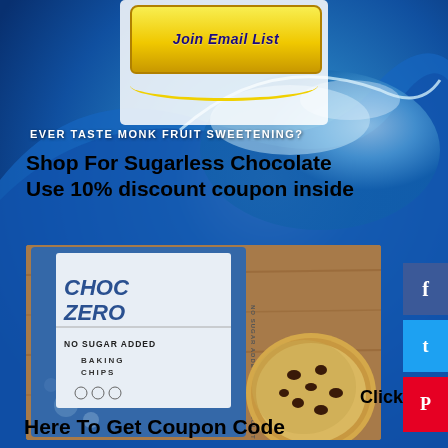[Figure (other): Yellow button with bold italic blue text 'Join Email List' on ocean wave background]
EVER TASTE MONK FRUIT SWEETENING?
Shop For Sugarless Chocolate Use 10% discount coupon inside
[Figure (photo): ChocZero No Sugar Added Baking Chips bag next to a chocolate chip cookie on a wooden board]
Click
Here To Get Coupon Code